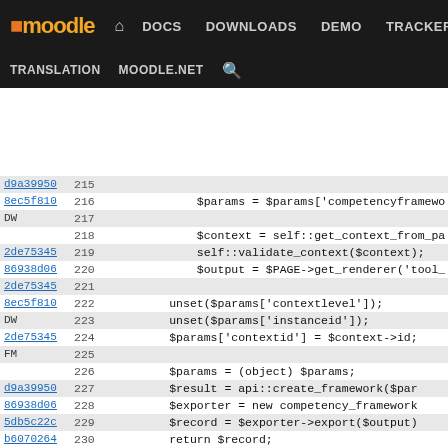Moodle DEV navigation bar with DOCS DOWNLOADS DEMO TRACKER DEV links
[Figure (screenshot): Moodle developer documentation site navigation bar showing logo, nav links (DOCS, DOWNLOADS, DEMO, TRACKER, DEV highlighted in purple), TRANSLATION, MOODLE.NET, and search icon]
Code diff viewer showing PHP source lines 215-241 with commit hashes and line numbers. Lines include $params = $params['competencyframework...], $context = self::get_context_from_pa..., self::validate_context($context);, $output = $PAGE->get_renderer('tool_..., unset($params['contextlevel']);, unset($params['instanceid']);, $params['contextid'] = $context->id;, $params = (object) $params;, $result = api::create_framework($par..., $exporter = new competency_framework..., $record = $exporter->export($output), return $record;, }, /**, * Returns description of create_compete..., *, * @return \external_description, */, public static function create_competency..., return competency_framework_exporter..., }